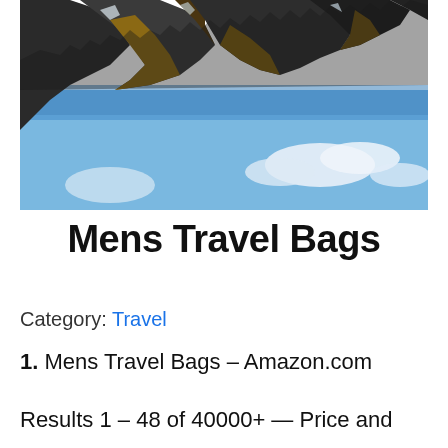[Figure (photo): Inverted mountain landscape photo showing rocky peaks reflected in a lake, with blue sky and white clouds. The image is flipped upside down, showing jagged brown and grey mountain ridges at the top.]
Mens Travel Bags
Category: Travel
1. Mens Travel Bags – Amazon.com
Results 1 – 48 of 40000+ — Price and